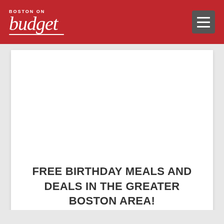Boston on budget
FREE BIRTHDAY MEALS AND DEALS IN THE GREATER BOSTON AREA!
Feb 24, 2016 | Misc